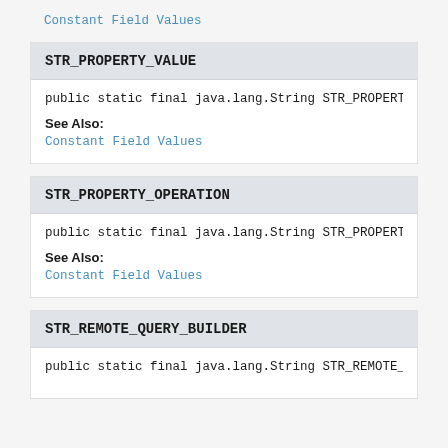Constant Field Values
STR_PROPERTY_VALUE
public static final java.lang.String STR_PROPERTY_VALUE
See Also:
Constant Field Values
STR_PROPERTY_OPERATION
public static final java.lang.String STR_PROPERTY_OPERATION
See Also:
Constant Field Values
STR_REMOTE_QUERY_BUILDER
public static final java.lang.String STR_REMOTE_QUERY_BUILDER